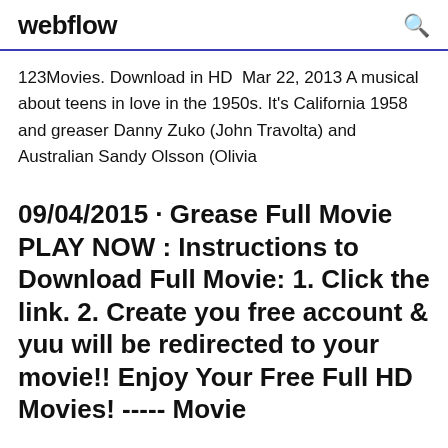webflow
123Movies. Download in HD  Mar 22, 2013 A musical about teens in love in the 1950s. It's California 1958 and greaser Danny Zuko (John Travolta) and Australian Sandy Olsson (Olivia
09/04/2015 · Grease Full Movie PLAY NOW : Instructions to Download Full Movie: 1. Click the link. 2. Create you free account & yuu will be redirected to your movie!! Enjoy Your Free Full HD Movies! ----- Movie